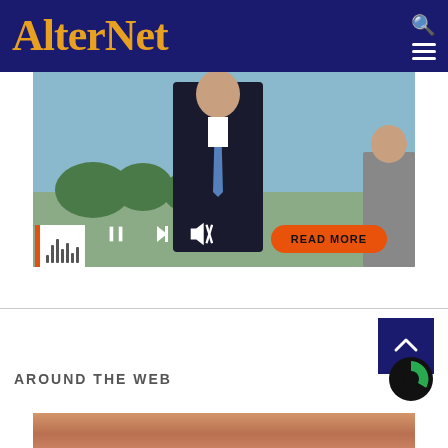AlterNet
[Figure (screenshot): Video player showing a man in a dark suit with media controls (previous, pause, next, mute) and a READ MORE button on orange pill-shaped button. Waveform box visible at bottom left.]
READ MORE
AROUND THE WEB
[Figure (photo): Close-up photo of elderly wrinkled hands/skin at bottom of page]